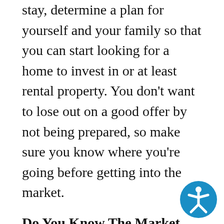stay, determine a plan for yourself and your family so that you can start looking for a home to invest in or at least rental property. You don't want to lose out on a good offer by not being prepared, so make sure you know where you're going before getting into the market.
Do You Know The Market Conditions?
Spring is certainly the most popular time to buy, but if your home isn't priced right for the conditions of the market, it may linger longer than you'd expect. If you're selling on your own, you may want to take a look at the M listings to determine what similar homes in
[Figure (illustration): Blue circular accessibility icon with a white figure of a person with arms and legs outstretched, positioned in the bottom-right corner of the page.]